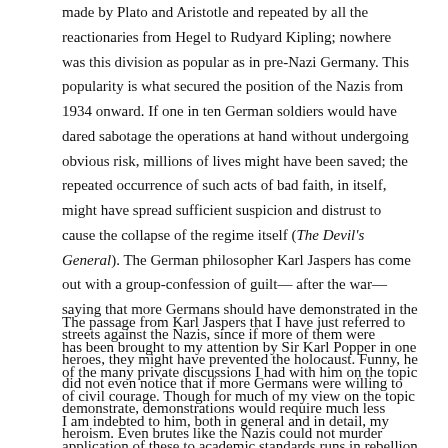made by Plato and Aristotle and repeated by all the reactionaries from Hegel to Rudyard Kipling; nowhere was this division as popular as in pre-Nazi Germany. This popularity is what secured the position of the Nazis from 1934 onward. If one in ten German soldiers would have dared sabotage the operations at hand without undergoing obvious risk, millions of lives might have been saved; the repeated occurrence of such acts of bad faith, in itself, might have spread sufficient suspicion and distrust to cause the collapse of the regime itself (The Devil's General). The German philosopher Karl Jaspers has come out with a group-confession of guilt—after the war—saying that more Germans should have demonstrated in the streets against the Nazis, since if more of them were heroes, they might have prevented the holocaust. Funny, he did not even notice that if more Germans were willing to demonstrate, demonstrations would require much less heroism. Even brutes like the Nazis could not murder millions of Germans in the early thirties.[18]
The passage from Karl Jaspers that I have just referred to has been brought to my attention by Sir Karl Popper in one of the many private discussions I had with him on the topic of civil courage. Though for much of my view on the topic I am indebted to him, both in general and in detail, my application of these to academic standards runs in rebellion against his views and practices. Of course, he had the full right to apply his incredibly high standard to his own work. This was his own choice and no one had